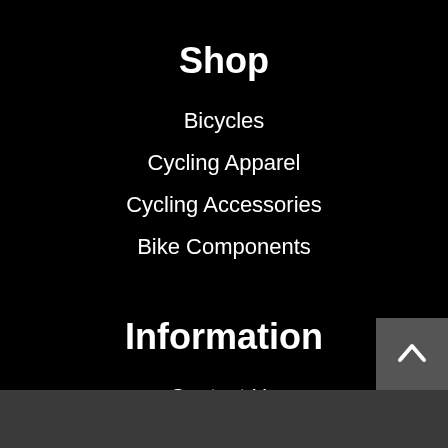Shop
Bicycles
Cycling Apparel
Cycling Accessories
Bike Components
Information
Contact Us
Careers